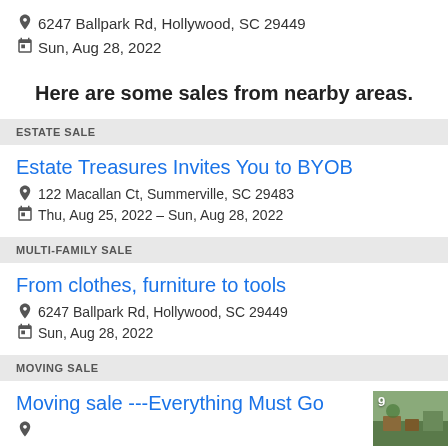6247 Ballpark Rd, Hollywood, SC 29449
Sun, Aug 28, 2022
Here are some sales from nearby areas.
ESTATE SALE
Estate Treasures Invites You to BYOB
122 Macallan Ct, Summerville, SC 29483
Thu, Aug 25, 2022 – Sun, Aug 28, 2022
MULTI-FAMILY SALE
From clothes, furniture to tools
6247 Ballpark Rd, Hollywood, SC 29449
Sun, Aug 28, 2022
MOVING SALE
Moving sale ---Everything Must Go
[Figure (photo): Outdoor yard sale items, numbered badge showing 9]